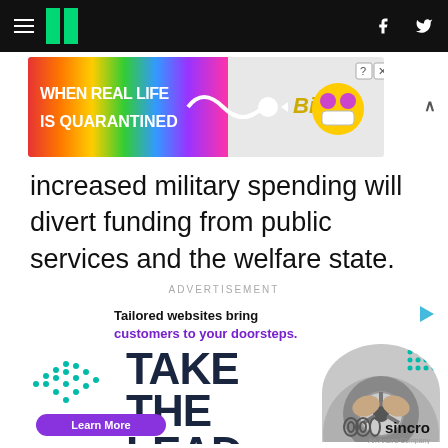HuffPost navigation header with hamburger menu, logo, Facebook and Twitter icons
[Figure (screenshot): BitLife advertisement banner: rainbow gradient background with text 'WHEN REAL LIFE IS QUARANTINED' and BitLife logo with emoji mascot]
increased military spending will divert funding from public services and the welfare state.
ADVERTISEMENT
[Figure (infographic): Sincro advertisement: 'Tailored websites bring customers to your doorsteps.' with large text 'TAKE THE LEAD.' and a photo of hands on a steering wheel, Learn More button, and Sincro logo]